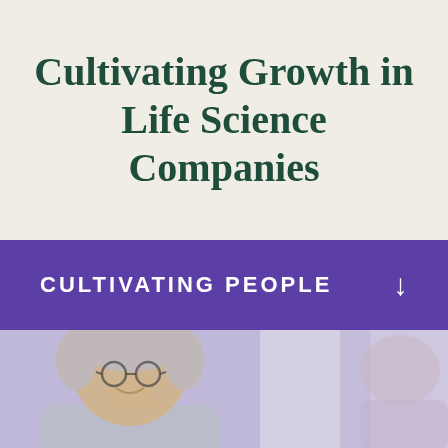Cultivating Growth in Life Science Companies
CULTIVATING PEOPLE
[Figure (photo): A smiling woman with grey hair and glasses, photographed from below chest level, in an office or professional setting with a purple-toned blurred background.]